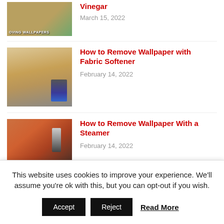[Figure (photo): Thumbnail image of wallpaper with text 'OVING WALLPAPERS' at bottom left]
Vinegar
March 15, 2022
[Figure (photo): Hand using a scraper tool to remove wallpaper from a wall]
How to Remove Wallpaper with Fabric Softener
February 14, 2022
[Figure (photo): Person using a steamer tool on a wall with orange/tan wallpaper]
How to Remove Wallpaper With a Steamer
February 14, 2022
TABBED CONTENT
This website uses cookies to improve your experience. We'll assume you're ok with this, but you can opt-out if you wish.
Accept   Reject   Read More